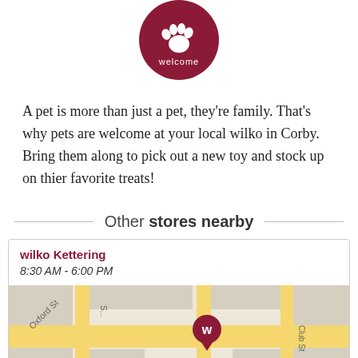[Figure (logo): Dark red circle with white paw print and text 'welcome' along the bottom arc]
A pet is more than just a pet, they're family. That's why pets are welcome at your local wilko in Corby. Bring them along to pick out a new toy and stock up on thier favorite treats!
Other stores nearby
wilko Kettering
8:30 AM - 6:00 PM
[Figure (map): Street map showing Oxford St area with a dark red 'W' pin marker and road A4300]